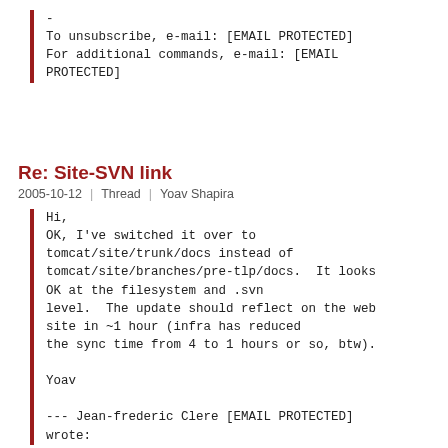-
To unsubscribe, e-mail: [EMAIL PROTECTED]
For additional commands, e-mail: [EMAIL PROTECTED]
Re: Site-SVN link
2005-10-12  |  Thread  |  Yoav Shapira
Hi,
OK, I've switched it over to tomcat/site/trunk/docs instead of tomcat/site/branches/pre-tlp/docs.  It looks OK at the filesystem and .svn level.  The update should reflect on the web site in ~1 hour (infra has reduced the sync time from 4 to 1 hours or so, btw).

Yoav

--- Jean-frederic Clere [EMAIL PROTECTED] wrote: